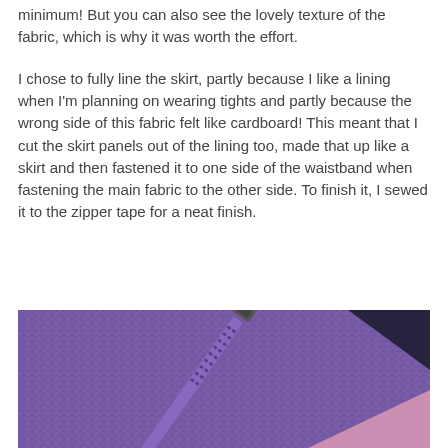minimum! But you can also see the lovely texture of the fabric, which is why it was worth the effort.
I chose to fully line the skirt, partly because I like a lining when I'm planning on wearing tights and partly because the wrong side of this fabric felt like cardboard! This meant that I cut the skirt panels out of the lining too, made that up like a skirt and then fastened it to one side of the waistband when fastening the main fabric to the other side. To finish it, I sewed it to the zipper tape for a neat finish.
[Figure (photo): Close-up photo of purple herringbone/woven fabric with a zipper pull visible, showing the texture of the fabric and the zipper tape detail.]